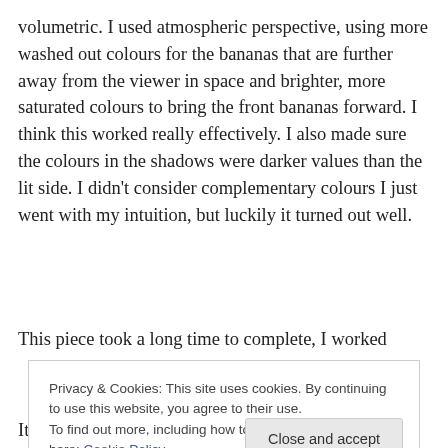volumetric. I used atmospheric perspective, using more washed out colours for the bananas that are further away from the viewer in space and brighter, more saturated colours to bring the front bananas forward. I think this worked really effectively. I also made sure the colours in the shadows were darker values than the lit side. I didn't consider complementary colours I just went with my intuition, but luckily it turned out well.
This piece took a long time to complete, I worked
Privacy & Cookies: This site uses cookies. By continuing to use this website, you agree to their use.
To find out more, including how to control cookies, see here: Cookie Policy
It got me excited about the possibility of creating